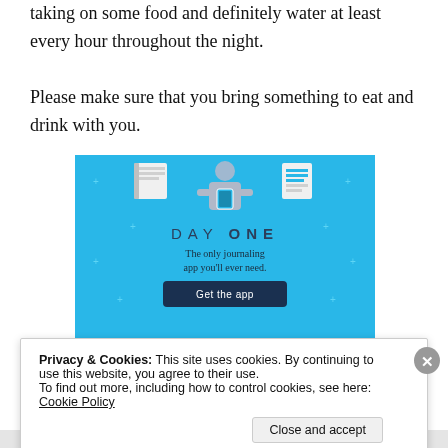taking on some food and definitely water at least every hour throughout the night.
Please make sure that you bring something to eat and drink with you.
[Figure (illustration): Day One journaling app advertisement. Blue background with illustrated icons at top (notebook, person holding phone, document/list). Text reads 'DAY ONE' and 'The only journaling app you'll ever need.' with a 'Get the app' button.]
Privacy & Cookies: This site uses cookies. By continuing to use this website, you agree to their use.
To find out more, including how to control cookies, see here: Cookie Policy
Close and accept